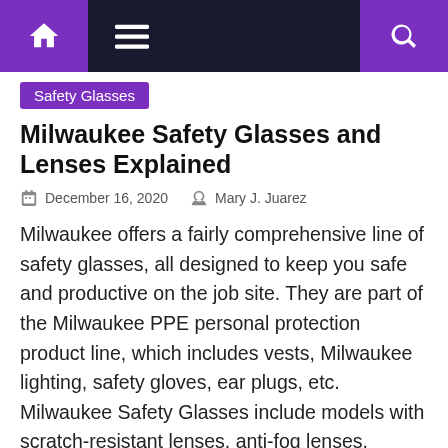Navigation bar with home, menu, and search icons
Safety Glasses
Milwaukee Safety Glasses and Lenses Explained
December 16, 2020   Mary J. Juarez
Milwaukee offers a fairly comprehensive line of safety glasses, all designed to keep you safe and productive on the job site. They are part of the Milwaukee PPE personal protection product line, which includes vests, Milwaukee lighting, safety gloves, ear plugs, etc. Milwaukee Safety Glasses include models with scratch-resistant lenses, anti-fog lenses, magnifying lenses, and [...]
[Figure (photo): Woman wearing safety glasses with an 'INSIDER PICKS Buying Guides' circular badge overlay and a scroll-to-top button]